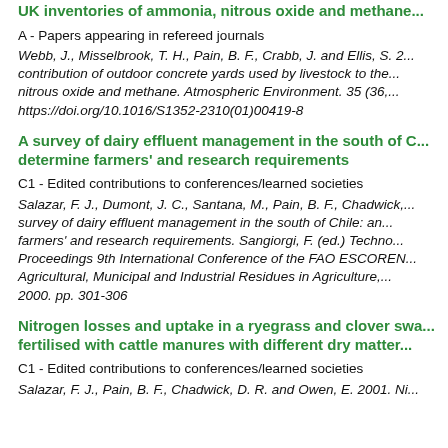UK inventories of ammonia, nitrous oxide and methane...
A - Papers appearing in refereed journals
Webb, J., Misselbrook, T. H., Pain, B. F., Crabb, J. and Ellis, S. 2... contribution of outdoor concrete yards used by livestock to the... nitrous oxide and methane. Atmospheric Environment. 35 (36,... https://doi.org/10.1016/S1352-2310(01)00419-8
A survey of dairy effluent management in the south of C... determine farmers' and research requirements
C1 - Edited contributions to conferences/learned societies
Salazar, F. J., Dumont, J. C., Santana, M., Pain, B. F., Chadwick,... survey of dairy effluent management in the south of Chile: an... farmers' and research requirements. Sangiorgi, F. (ed.) Techno... Proceedings 9th International Conference of the FAO ESCOREN... Agricultural, Municipal and Industrial Residues in Agriculture,... 2000. pp. 301-306
Nitrogen losses and uptake in a ryegrass and clover swa... fertilised with cattle manures with different dry matter...
C1 - Edited contributions to conferences/learned societies
Salazar, F. J., Pain, B. F., Chadwick, D. R. and Owen, E. 2001. Ni...